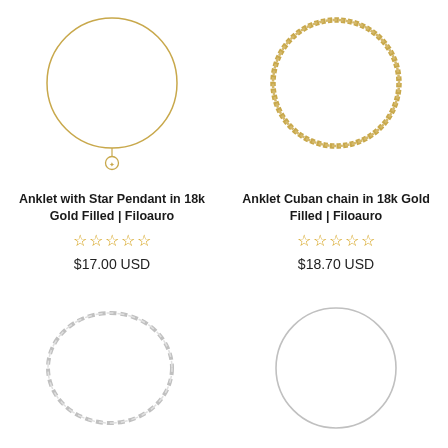[Figure (illustration): Gold thin circular anklet with a small star pendant charm, photographed on white background]
Anklet with Star Pendant in 18k Gold Filled | Filoauro
☆☆☆☆☆
$17.00 USD
[Figure (illustration): Gold Cuban chain circular anklet, thicker textured chain links, photographed on white background]
Anklet Cuban chain in 18k Gold Filled | Filoauro
☆☆☆☆☆
$18.70 USD
[Figure (illustration): Silver/white oval chain anklet, paperclip or cable chain style, photographed on white background]
[Figure (illustration): Silver thin circular anklet, simple ring silhouette, photographed on white background]